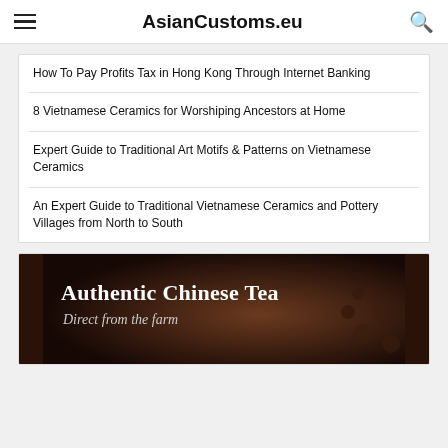AsianCustoms.eu
How To Pay Profits Tax in Hong Kong Through Internet Banking
8 Vietnamese Ceramics for Worshiping Ancestors at Home
Expert Guide to Traditional Art Motifs & Patterns on Vietnamese Ceramics
An Expert Guide to Traditional Vietnamese Ceramics and Pottery Villages from North to South
[Figure (photo): Advertisement banner for Authentic Chinese Tea - Direct from the farm, dark brown background with tea imagery]